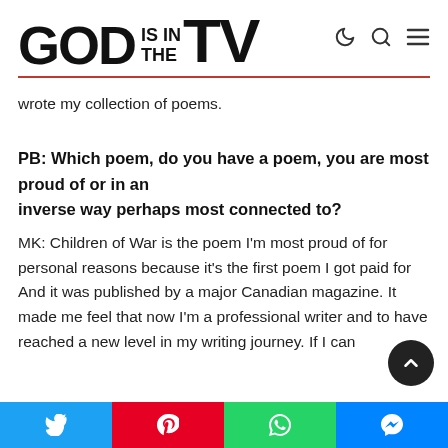GOD IS IN THE TV
wrote my collection of poems.
PB: Which poem, do you have a poem, you are most proud of or in an inverse way perhaps most connected to?
MK: Children of War is the poem I'm most proud of for personal reasons because it's the first poem I got paid for And it was published by a major Canadian magazine. It made me feel that now I'm a professional writer and to have reached a new level in my writing journey. If I can